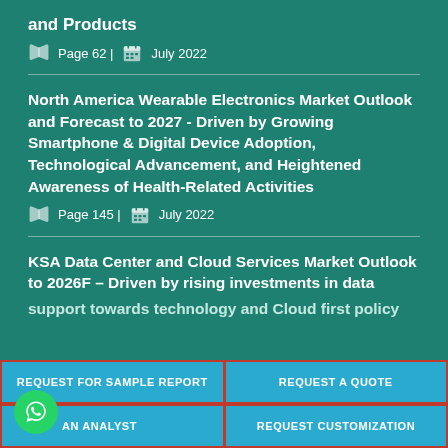and Products
Page 62 | July 2022
North America Wearable Electronics Market Outlook and Forecast to 2027 - Driven by Growing Smartphone & Digital Device Adoption, Technological Advancement, and Heightened Awareness of Health-Related Activities
Page 145 | July 2022
KSA Data Center and Cloud Services Market Outlook to 2026F – Driven by rising investments in data support towards technology and Cloud first policy
REQUEST FOR SAMPLE REPORT
REQUEST A QUOTE
AN ANALYST
REQUEST CUSTOMIZATION